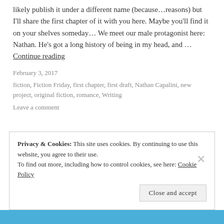likely publish it under a different name (because…reasons) but I'll share the first chapter of it with you here. Maybe you'll find it on your shelves someday… We meet our male protagonist here: Nathan. He's got a long history of being in my head, and … Continue reading
February 3, 2017
fiction, Fiction Friday, first chapter, first draft, Nathan Capalini, new project, original fiction, romance, Writing
Leave a comment
Privacy & Cookies: This site uses cookies. By continuing to use this website, you agree to their use. To find out more, including how to control cookies, see here: Cookie Policy
Close and accept